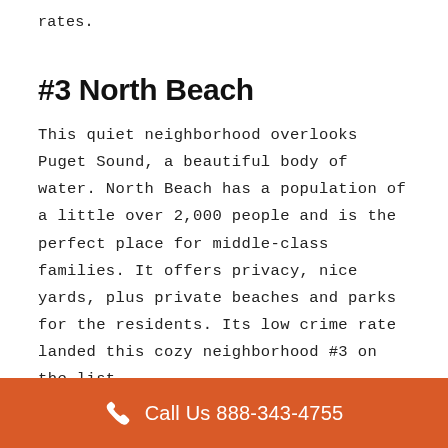rates.
#3 North Beach
This quiet neighborhood overlooks Puget Sound, a beautiful body of water. North Beach has a population of a little over 2,000 people and is the perfect place for middle-class families. It offers privacy, nice yards, plus private beaches and parks for the residents. Its low crime rate landed this cozy neighborhood #3 on the list.
#2 Blue Ridge
Call Us 888-343-4755